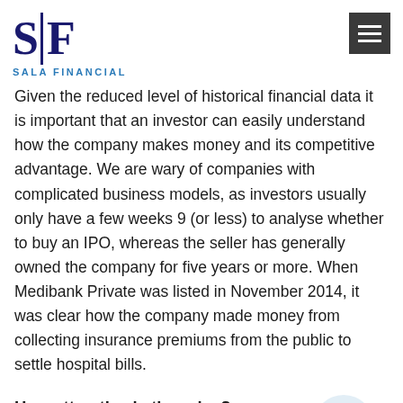SALA FINANCIAL
Given the reduced level of historical financial data it is important that an investor can easily understand how the company makes money and its competitive advantage. We are wary of companies with complicated business models, as investors usually only have a few weeks 9 (or less) to analyse whether to buy an IPO, whereas the seller has generally owned the company for five years or more. When Medibank Private was listed in November 2014, it was clear how the company made money from collecting insurance premiums from the public to settle hospital bills.
How attractive is the price?
The sole reason behind any new investment is the view that it will generate a higher rate of return than the alternative